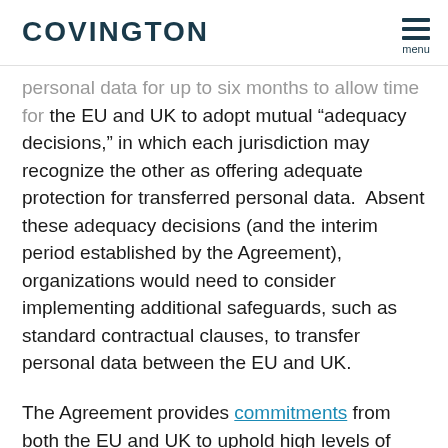COVINGTON | menu
personal data for up to six months to allow time for the EU and UK to adopt mutual “adequacy decisions,” in which each jurisdiction may recognize the other as offering adequate protection for transferred personal data.  Absent these adequacy decisions (and the interim period established by the Agreement), organizations would need to consider implementing additional safeguards, such as standard contractual clauses, to transfer personal data between the EU and UK.
The Agreement provides commitments from both the EU and UK to uphold high levels of data protection standards and to refrain from adopting